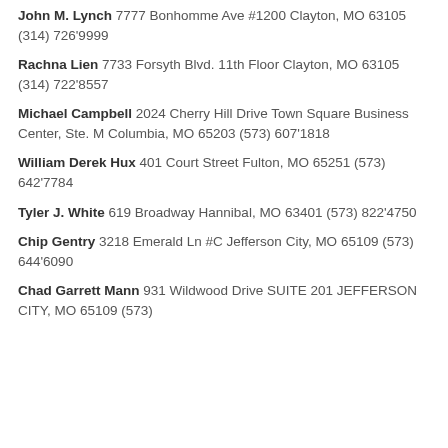John M. Lynch 7777 Bonhomme Ave #1200 Clayton, MO 63105 (314) 726'9999
Rachna Lien 7733 Forsyth Blvd. 11th Floor Clayton, MO 63105 (314) 722'8557
Michael Campbell 2024 Cherry Hill Drive Town Square Business Center, Ste. M Columbia, MO 65203 (573) 607'1818
William Derek Hux 401 Court Street Fulton, MO 65251 (573) 642'7784
Tyler J. White 619 Broadway Hannibal, MO 63401 (573) 822'4750
Chip Gentry 3218 Emerald Ln #C Jefferson City, MO 65109 (573) 644'6090
Chad Garrett Mann 931 Wildwood Drive SUITE 201 JEFFERSON CITY, MO 65109 (573)